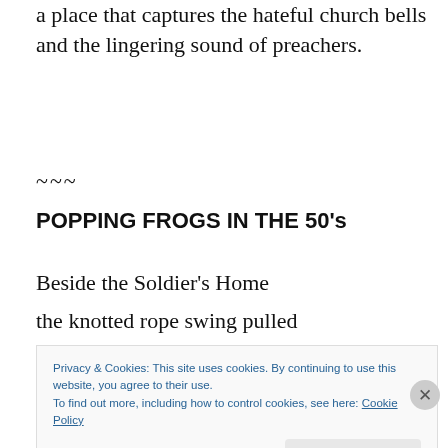a place that captures the hateful church bells and the lingering sound of preachers.
~~~
POPPING FROGS IN THE 50's
Beside the Soldier's Home
the knotted rope swing pulled
Privacy & Cookies: This site uses cookies. By continuing to use this website, you agree to their use.
To find out more, including how to control cookies, see here: Cookie Policy